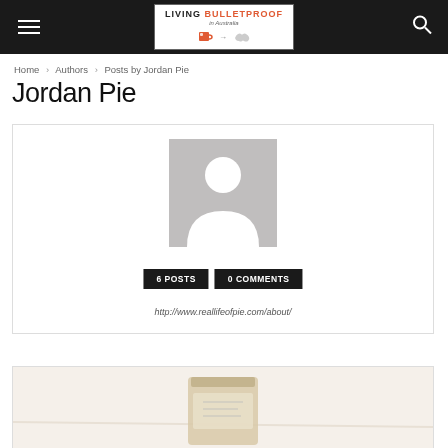LIVING BULLETPROOF in Australia
Home › Authors › Posts by Jordan Pie
Jordan Pie
[Figure (other): Author profile card with grey placeholder avatar, badges showing '6 POSTS' and '0 COMMENTS', and website URL http://www.reallifeofpie.com/about/]
[Figure (photo): Partial photo of a food/drink item at the bottom of the page, appears to be a jar or cup on a light background]